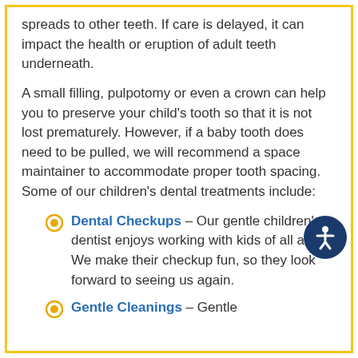spreads to other teeth. If care is delayed, it can impact the health or eruption of adult teeth underneath.
A small filling, pulpotomy or even a crown can help you to preserve your child's tooth so that it is not lost prematurely. However, if a baby tooth does need to be pulled, we will recommend a space maintainer to accommodate proper tooth spacing. Some of our children's dental treatments include:
Dental Checkups – Our gentle children's dentist enjoys working with kids of all ages. We make their checkup fun, so they look forward to seeing us again.
Gentle Cleanings – Gentle